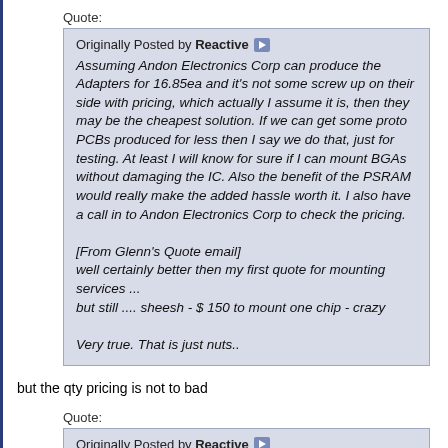Quote:
Originally Posted by Reactive
Assuming Andon Electronics Corp can produce the Adapters for 16.85ea and it's not some screw up on their side with pricing, which actually I assume it is, then they may be the cheapest solution. If we can get some proto PCBs produced for less then I say we do that, just for testing. At least I will know for sure if I can mount BGAs without damaging the IC. Also the benefit of the PSRAM would really make the added hassle worth it. I also have a call in to Andon Electronics Corp to check the pricing.

[From Glenn's Quote email]
well certainly better then my first quote for mounting services ...
but still .... sheesh - $ 150 to mount one chip - crazy

Very true. That is just nuts..
but the qty pricing is not to bad
Quote:
Originally Posted by Reactive
Anyone having a PCB produced any time soon? Maybe